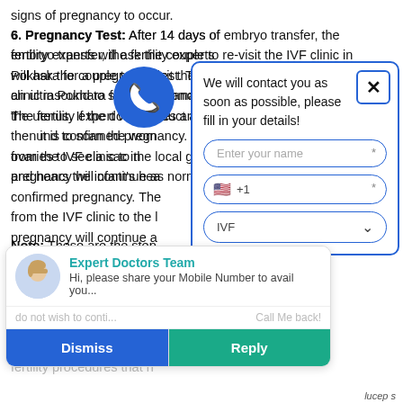signs of pregnancy to occur.
6. Pregnancy Test: After 14 days of embryo transfer, the fertility experts will ask the couple to re-visit the IVF clinic in Pokhara for a pregnancy test. The fertility expert will conduct an ultrasound to scan the woman's ovaries to see a sac in the uterus. If the doctor sees and hears the infant's heartbeat, then it is confirmed pregnancy. The patient will be referred from the IVF clinic to the local gynaecologist and the pregnancy will continue as normal.
Note: These are the steps followed for most couples who are unable to achieve a successful pregnancy in one IVF cycle, they could repeat the process. Also, if they do not wish to continue further, Fertility treatments are assisted fertility procedures that help the couples conceiving a...
[Figure (other): Blue circular phone/call button icon]
We will contact you as soon as possible, please fill in your details!
Enter your name *
+1 *
IVF
[Figure (other): Chat widget with Expert Doctors Team. Hi, please share your Mobile Number to avail you... with Dismiss and Reply buttons.]
Expert Doctors Team
Hi, please share your Mobile Number to avail you...
Call Me back!